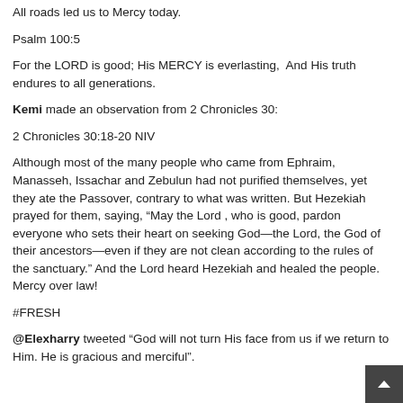All roads led us to Mercy today.
Psalm 100:5
For the LORD is good; His MERCY is everlasting,  And His truth endures to all generations.
Kemi made an observation from 2 Chronicles 30:
2 Chronicles 30:18-20 NIV
Although most of the many people who came from Ephraim, Manasseh, Issachar and Zebulun had not purified themselves, yet they ate the Passover, contrary to what was written. But Hezekiah prayed for them, saying, “May the Lord , who is good, pardon everyone who sets their heart on seeking God—the Lord, the God of their ancestors—even if they are not clean according to the rules of the sanctuary.” And the Lord heard Hezekiah and healed the people. Mercy over law!
#FRESH
@Elexharry tweeted “God will not turn His face from us if we return to Him. He is gracious and merciful”.